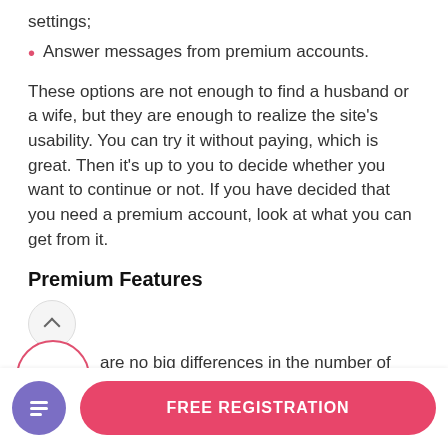settings;
Answer messages from premium accounts.
These options are not enough to find a husband or a wife, but they are enough to realize the site’s usability. You can try it without paying, which is great. Then it’s up to you to decide whether you want to continue or not. If you have decided that you need a premium account, look at what you can get from it.
Premium Features
[Figure (other): A circular progress/rating indicator showing 75% with a pink/red border and an up chevron icon above it in a light gray circle]
There are no big differences in the number of free features and paid features. There is only one main
[Figure (other): Bottom navigation bar with a purple circular icon containing a document/list symbol on the left and a pink FREE REGISTRATION button on the right]